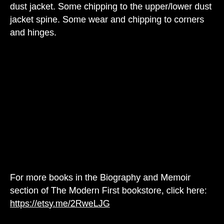dust jacket. Some chipping to the upper/lower dust jacket spine. Some wear and chipping to corners and hinges.
For more books in the Biography and Memoir section of The Modern First bookstore, click here: https://etsy.me/2RweLJG